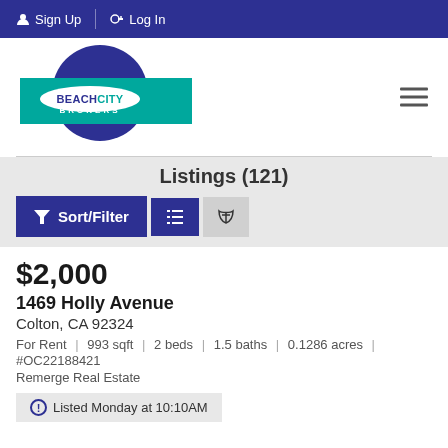Sign Up | Log In
[Figure (logo): Beach City Brokers logo with blue circle and teal rectangle]
Listings (121)
$2,000
1469 Holly Avenue
Colton, CA 92324
For Rent | 993 sqft | 2 beds | 1.5 baths | 0.1286 acres | #OC22188421
Remerge Real Estate
Listed Monday at 10:10AM